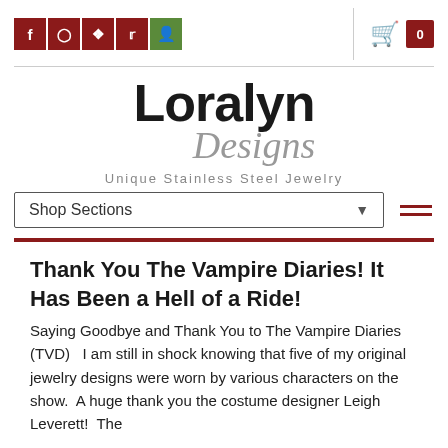Social icons: Facebook, Instagram, Pinterest, Twitter, User account. Cart icon with count 0.
[Figure (logo): Loralyn Designs logo with tagline 'Unique Stainless Steel Jewelry']
Shop Sections
Thank You The Vampire Diaries! It Has Been a Hell of a Ride!
Saying Goodbye and Thank You to The Vampire Diaries (TVD)   I am still in shock knowing that five of my original jewelry designs were worn by various characters on the show.  A huge thank you the costume designer Leigh Leverett!  The